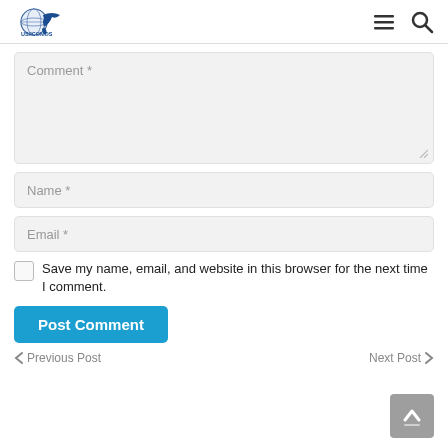[Figure (logo): US/ICOMOS logo with globe and eagle, text reads US/ICOMOS]
[Figure (infographic): Hamburger menu icon (three horizontal lines) and magnifying glass search icon]
Comment *
Name *
Email *
Save my name, email, and website in this browser for the next time I comment.
Post Comment
Previous Post
Next Post